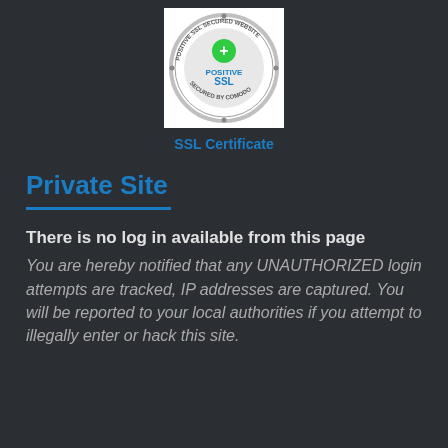[Figure (logo): Positive SSL Secured Website badge/seal — circular metallic badge with green plus icon and 'POSITIVE SSL' text, 'SECURED BY COMODO' around the edge, on white background]
SSL Certificate
Private Site
There is no log in available from this page
You are hereby notified that any UNAUTHORIZED login attempts are tracked, IP addresses are captured. You will be reported to your local authorities if you attempt to illegally enter or hack this site.